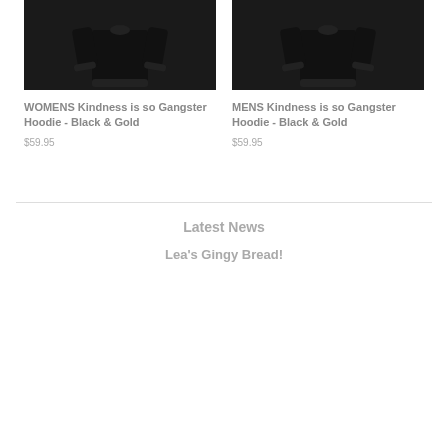[Figure (photo): Black hoodie product photo for WOMENS Kindness is so Gangster Hoodie]
[Figure (photo): Black hoodie product photo for MENS Kindness is so Gangster Hoodie]
WOMENS Kindness is so Gangster Hoodie - Black & Gold
$59.95
MENS Kindness is so Gangster Hoodie - Black & Gold
$59.95
Latest News
Lea's Gingy Bread!